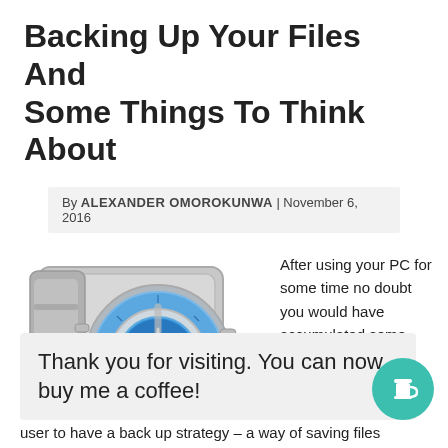Backing Up Your Files And Some Things To Think About
By ALEXANDER OMOROKUNWA | November 6, 2016
[Figure (illustration): A gray metal combination safe with a blue clock-face dial, door slightly ajar, on white background]
After using your PC for some time no doubt you would have accumulated some useful files. These could be ished me omp.
Thank you for visiting. You can now buy me a coffee!
user to have a back up strategy – a way of saving files